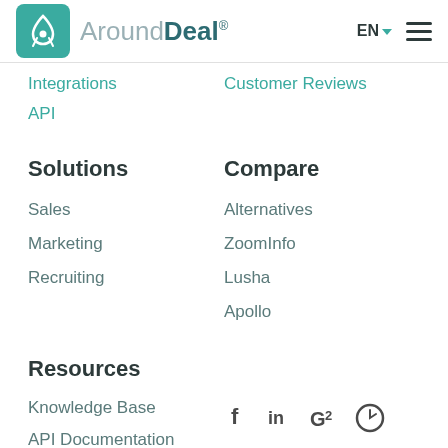[Figure (logo): AroundDeal logo with teal square containing white rocket/person icon, followed by brand name 'AroundDeal' in grey and teal, with EN language selector and hamburger menu on right]
Integrations
Customer Reviews
API
Solutions
Compare
Sales
Alternatives
Marketing
ZoomInfo
Recruiting
Lusha
Apollo
Resources
Knowledge Base
API Documentation
[Figure (other): Social media icons: Facebook, LinkedIn, G2, and another platform icon]